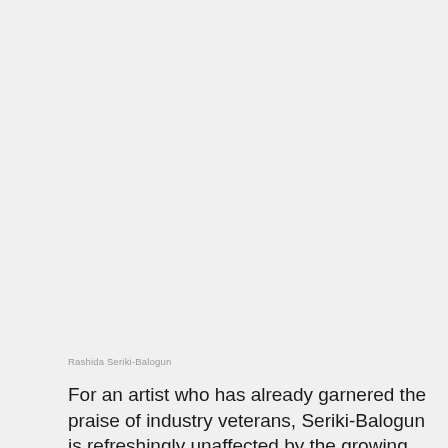Rashida Seriki-Balogun
For an artist who has already garnered the praise of industry veterans, Seriki-Balogun is refreshingly unaffected by the growing attention, she's